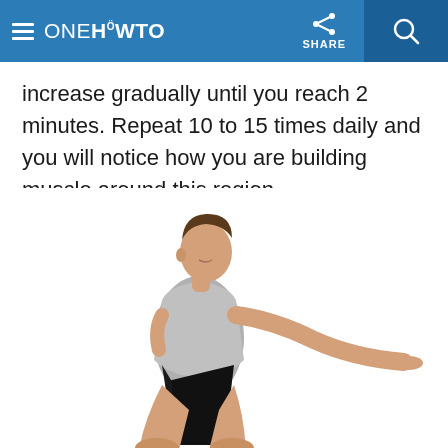ONE HOWTO | SHARE
increase gradually until you reach 2 minutes. Repeat 10 to 15 times daily and you will notice how you are building muscle around this region.
[Figure (photo): Man in squat position wearing grey tank top and black shorts, arms extended forward, on white background]